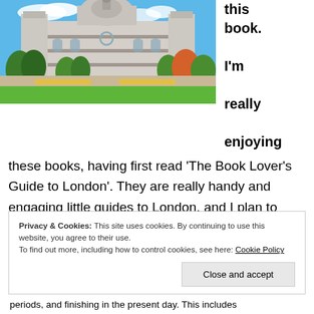[Figure (photo): Photograph of St. Paul's Cathedral in London with blue sky, trees and green lawn in foreground]
this book.
I'm really enjoying these books, having first read 'The Book Lover's Guide to London'. They are really handy and engaging little guides to London, and I plan to take both on my next trip down there!
Privacy & Cookies: This site uses cookies. By continuing to use this website, you agree to their use.
To find out more, including how to control cookies, see here: Cookie Policy
Close and accept
periods, and finishing in the present day. This includes